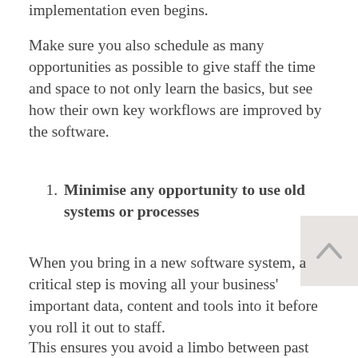implementation even begins.
Make sure you also schedule as many opportunities as possible to give staff the time and space to not only learn the basics, but see how their own key workflows are improved by the software.
Minimise any opportunity to use old systems or processes
When you bring in a new software system, a critical step is moving all your business' important data, content and tools into it before you roll it out to staff.
This ensures you avoid a limbo between past and present, where some staff are